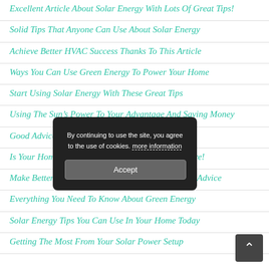Excellent Article About Solar Energy With Lots Of Great Tips!
Solid Tips That Anyone Can Use About Solar Energy
Achieve Better HVAC Success Thanks To This Article
Ways You Can Use Green Energy To Power Your Home
Start Using Solar Energy With These Great Tips
Using The Sun’s Power To Your Advantage And Saving Money
Good Advice On How To Live Greener
Is Your Home As Green As It Can Be? Find Out Here!
Make Better Choices With This Home Improvement Advice
Everything You Need To Know About Green Energy
Solar Energy Tips You Can Use In Your Home Today
Getting The Most From Your Solar Power Setup
[Figure (screenshot): Cookie consent modal dialog with dark background, text 'By continuing to use the site, you agree to the use of cookies. more information' and an Accept button.]